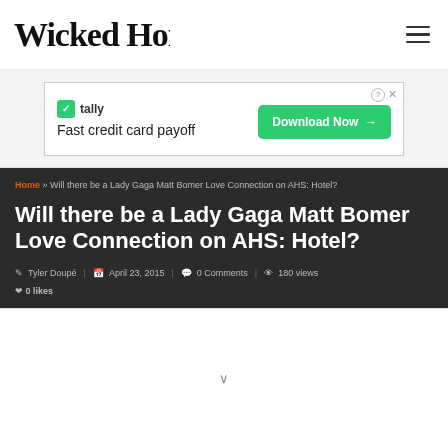Wicked Horror
[Figure (illustration): Tally advertisement: Fast credit card payoff with Download Now button]
Home » Will there be a Lady Gaga Matt Bomer Love Connection on AHS: Hotel?
Will there be a Lady Gaga Matt Bomer Love Connection on AHS: Hotel?
Tyler Doupé   April 23, 2015   0 Comments   180 views
0 likes